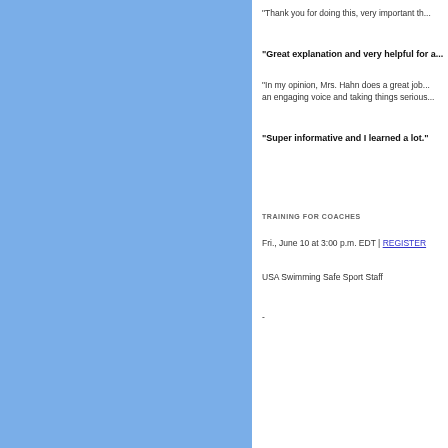"Thank you for doing this, very important th...
"Great explanation and very helpful for a...
"In my opinion, Mrs. Hahn does a great job... an engaging voice and taking things serious...
"Super informative and I learned a lot."
TRAINING FOR COACHES
Fri., June 10 at 3:00 p.m. EDT | REGISTER
USA Swimming Safe Sport Staff
-